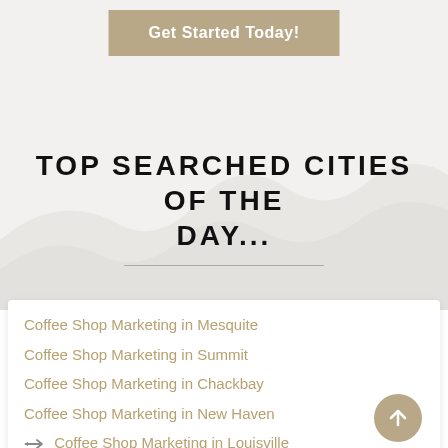[Figure (illustration): Tan/beige button labeled 'Get Started Today!' on a light gray background with mountain silhouette decoration]
TOP SEARCHED CITIES OF THE DAY...
Coffee Shop Marketing in Mesquite
Coffee Shop Marketing in Summit
Coffee Shop Marketing in Chackbay
Coffee Shop Marketing in New Haven
Coffee Shop Marketing in Louisville